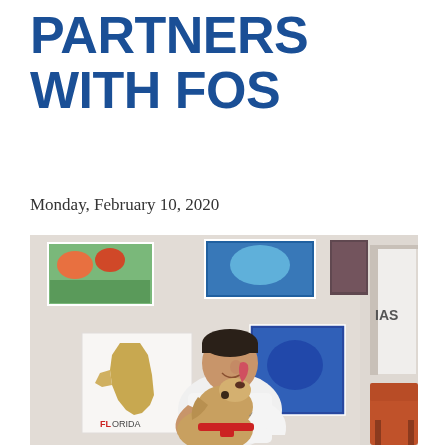PARTNERS WITH FOS
Monday, February 10, 2020
[Figure (photo): A young man in a white polo shirt holds a golden/tan dog that is licking his face, inside an office with colorful artwork on the walls including a Florida state map artwork labeled FLORIDA. An orange chair is visible to the right.]